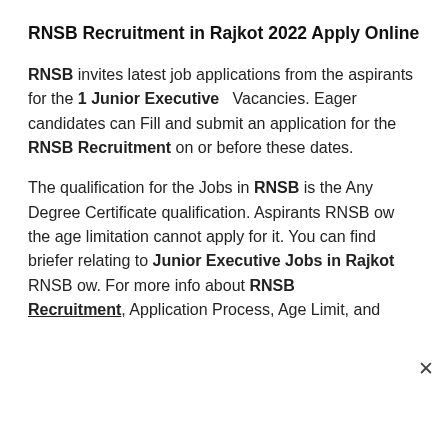RNSB Recruitment in Rajkot 2022 Apply Online
RNSB invites latest job applications from the aspirants for the 1 Junior Executive   Vacancies. Eager candidates can Fill and submit an application for the RNSB Recruitment on or before these dates.
The qualification for the Jobs in RNSB is the Any Degree Certificate qualification. Aspirants RNSB ow the age limitation cannot apply for it. You can find briefer relating to Junior Executive Jobs in Rajkot RNSB ow. For more info about RNSB Recruitment, Application Process, Age Limit, and